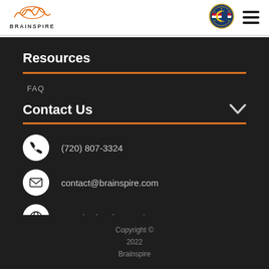[Figure (logo): Brainspire logo with orange brain wave icon and BRAINSPIRE text below]
[Figure (logo): Colorado state badge/seal circular logo]
[Figure (other): Hamburger menu icon (three horizontal lines)]
Resources
FAQ
Contact Us
(720) 807-3324
contact@brainspire.com
www.brainspire.com/contact
Copyright © 2022 Brainspire